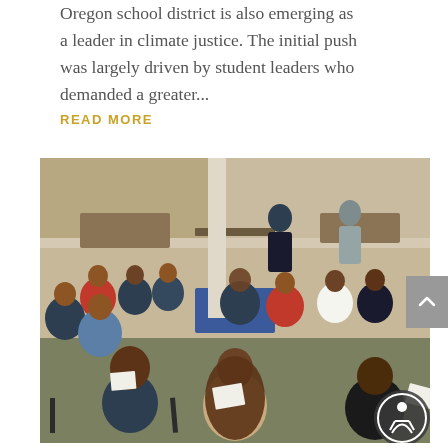Oregon school district is also emerging as a leader in climate justice. The initial push was largely driven by student leaders who demanded a greater...
READ MORE
[Figure (photo): A group of students and adults sitting in a large circle in an indoor space, appearing to be engaged in a discussion or workshop activity. Several people hold papers. Adults stand in the background near tables and shelves.]